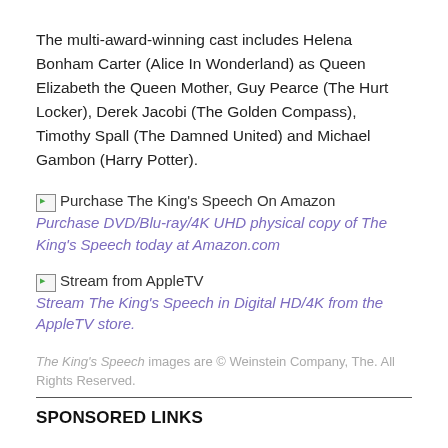The multi-award-winning cast includes Helena Bonham Carter (Alice In Wonderland) as Queen Elizabeth the Queen Mother, Guy Pearce (The Hurt Locker), Derek Jacobi (The Golden Compass), Timothy Spall (The Damned United) and Michael Gambon (Harry Potter).
Purchase The King's Speech On Amazon   Purchase DVD/Blu-ray/4K UHD physical copy of The King's Speech today at Amazon.com
Stream from AppleTV   Stream The King's Speech in Digital HD/4K from the AppleTV store.
The King's Speech images are © Weinstein Company, The. All Rights Reserved.
SPONSORED LINKS